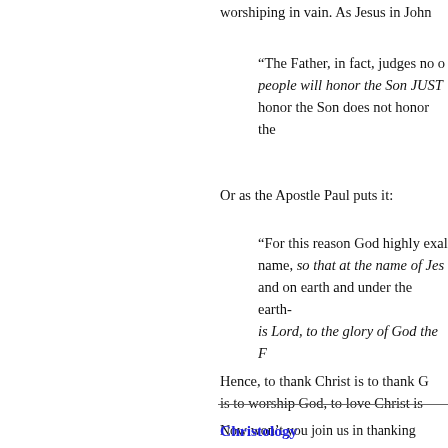worshiping in vain. As Jesus in John
“The Father, in fact, judges no o people will honor the Son JUST honor the Son does not honor the
Or as the Apostle Paul puts it:
“For this reason God highly exal name, so that at the name of Jes and on earth and under the earth- is Lord, to the glory of God the F
Hence, to thank Christ is to thank G is to worship God, to love Christ is
Now won’t you join us in thanking from our spiritual disease of sin glorious, loving and compassionate
Amen! Come Lord Jesus, come! We so that we can dwell in your maje adore you, O Risen Lord and radian
Christology